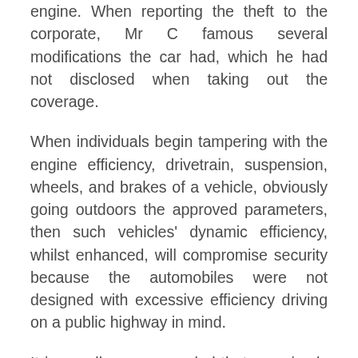engine. When reporting the theft to the corporate, Mr C famous several modifications the car had, which he had not disclosed when taking out the coverage.
When individuals begin tampering with the engine efficiency, drivetrain, suspension, wheels, and brakes of a vehicle, obviously going outdoors the approved parameters, then such vehicles' dynamic efficiency, whilst enhanced, will compromise security because the automobiles were not designed with excessive efficiency driving on a public highway in mind.
It is usually recommended that you simply discuss any modifications you might have carried out or intend to make together with your insurer, together with these listed as modifications not requiring approval. If you are on the lookout for